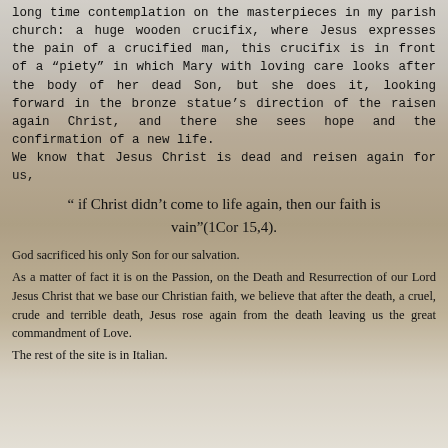long time contemplation on the masterpieces in my parish church: a huge wooden crucifix, where Jesus expresses the pain of a crucified man, this crucifix is in front of a "piety" in which Mary with loving care looks after the body of her dead Son, but she does it, looking forward in the bronze statue's direction of the raisen again Christ, and there she sees hope and the confirmation of a new life.
We know that Jesus Christ is dead and reisen again for us,
" if Christ didn't come to life again, then our faith is vain"(1Cor 15,4).
God sacrificed his only Son for our salvation.
As a matter of fact it is on the Passion, on the Death and Resurrection of our Lord Jesus Christ that we base our Christian faith, we believe that after the death, a cruel, crude and terrible death, Jesus rose again from the death leaving us the great commandment of Love.
The rest of the site is in Italian.